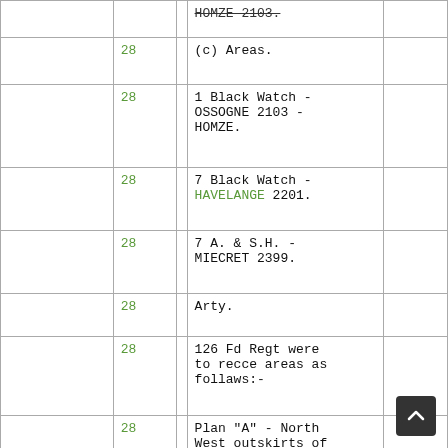|  |  |  |  |  |
| --- | --- | --- | --- | --- |
|  | 28 |  | HOMZE 2103. |  |
|  | 28 |  | (c) Areas. |  |
|  | 28 |  | 1 Black Watch - OSSOGNE 2103 - HOMZE. |  |
|  | 28 |  | 7 Black Watch - HAVELANGE 2201. |  |
|  | 28 |  | 7 A. & S.H. - MIECRET 2399. |  |
|  | 28 |  | Arty. |  |
|  | 28 |  | 126 Fd Regt were to recce areas as follaws:- |  |
|  | 28 |  | Plan "A" - North West outskirts of HAVELANGE. |  |
|  | 28 |  | Plan "C" - LONGUEVILLE 3801. |  |
|  | 28 |  | Plan "D" - Eastern outskirts of |  |